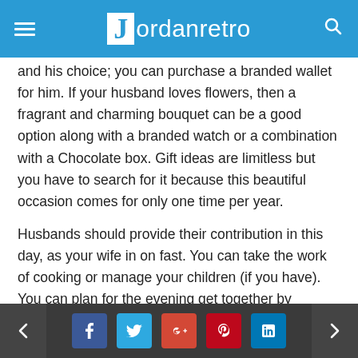Jordanretro
and his choice; you can purchase a branded wallet for him. If your husband loves flowers, then a fragrant and charming bouquet can be a good option along with a branded watch or a combination with a Chocolate box. Gift ideas are limitless but you have to search for it because this beautiful occasion comes for only one time per year.
Husbands should provide their contribution in this day, as your wife in on fast. You can take the work of cooking or manage your children (if you have). You can plan for the evening get together by decoration the house with beautiful lighting and other stuff. Dinner menu should be properly selected because you are going to host a number
← f t g+ p in →